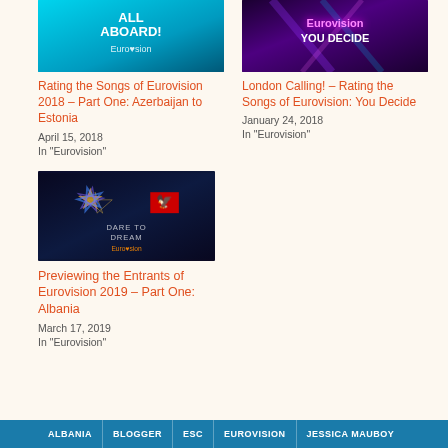[Figure (photo): Eurovision 2018 All Aboard banner with cyan/teal background]
Rating the Songs of Eurovision 2018 – Part One: Azerbaijan to Estonia
April 15, 2018
In "Eurovision"
[Figure (photo): Eurovision You Decide purple neon banner]
London Calling! – Rating the Songs of Eurovision: You Decide
January 24, 2018
In "Eurovision"
[Figure (photo): Eurovision Dare to Dream 2019 – star with Albanian flag on dark background]
Previewing the Entrants of Eurovision 2019 – Part One: Albania
March 17, 2019
In "Eurovision"
ALBANIA
BLOGGER
ESC
EUROVISION
JESSICA MAUBOY